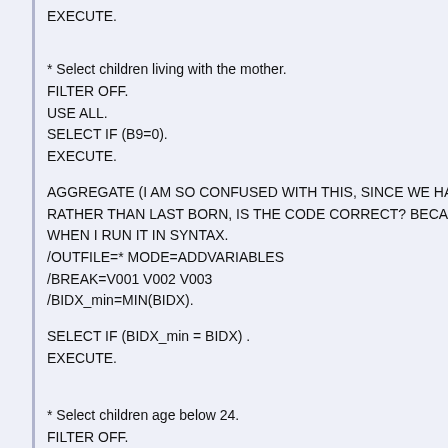EXECUTE.
* Select children living with the mother.
FILTER OFF.
USE ALL.
SELECT IF (B9=0).
EXECUTE.
AGGREGATE (I AM SO CONFUSED WITH THIS, SINCE WE HAVE TO
RATHER THAN LAST BORN, IS THE CODE CORRECT? BECAUSE SO
WHEN I RUN IT IN SYNTAX.
/OUTFILE=* MODE=ADDVARIABLES
/BREAK=V001 V002 V003
/BIDX_min=MIN(BIDX).
SELECT IF (BIDX_min = BIDX) .
EXECUTE.
* Select children age below 24.
FILTER OFF.
USE ALL.
SELECT IF ( age < 24).